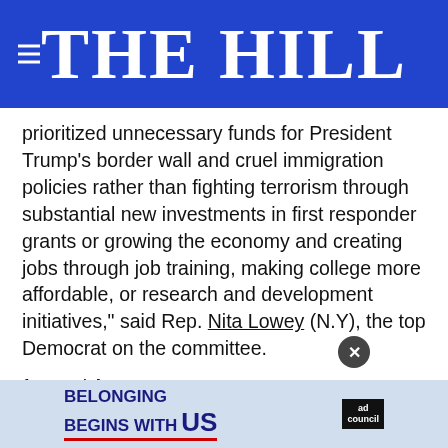THE HILL
prioritized unnecessary funds for President Trump's border wall and cruel immigration policies rather than fighting terrorism through substantial new investments in first responder grants or growing the economy and creating jobs through job training, making college more affordable, or research and development initiatives," said Rep. Nita Lowey (N.Y), the top Democrat on the committee.
{mosads}
Democratic attempts to block or redesignate the $5 billion included to fund 200 miles worth of wall along the United States's southern border fell flat in the face of
[Figure (infographic): Ad banner: BELONGING BEGINS WITH US - Ad Council logo]